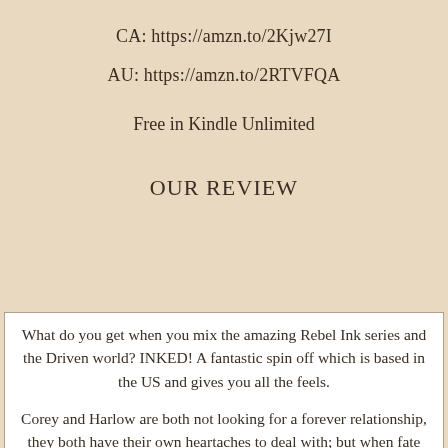CA: https://amzn.to/2Kjw27I
AU: https://amzn.to/2RTVFQA
Free in Kindle Unlimited
OUR REVIEW
What do you get when you mix the amazing Rebel Ink series and the Driven world? INKED! A fantastic spin off which is based in the US and gives you all the feels.
Corey and Harlow are both not looking for a forever relationship, they both have their own heartaches to deal with; but when fate (and maybe a little help from a friend) brings them together they cannot deny the attraction and chemistry that they share.